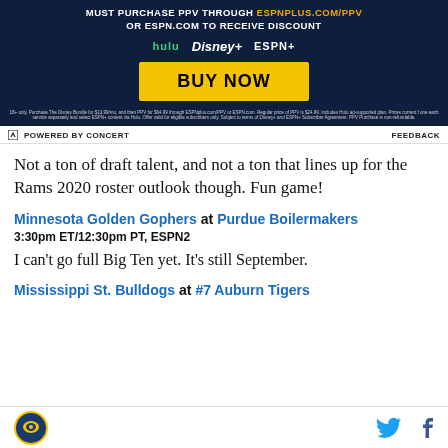[Figure (infographic): ESPN+ / Disney Bundle advertisement banner with dark navy background. Text reads 'MUST PURCHASE PPV THROUGH ESPNPLUS.COM/PPV OR ESPN.COM TO RECEIVE DISCOUNT'. Shows Hulu, Disney+, and ESPN+ logos. Yellow 'BUY NOW' button. Fine print at bottom.]
⚡ POWERED BY CONCERT   FEEDBACK
Not a ton of draft talent, and not a ton that lines up for the Rams 2020 roster outlook though. Fun game!
Minnesota Golden Gophers at Purdue Boilermakers
3:30pm ET/12:30pm PT, ESPN2
I can't go full Big Ten yet. It's still September.
Mississippi St. Bulldogs at #7 Auburn Tigers